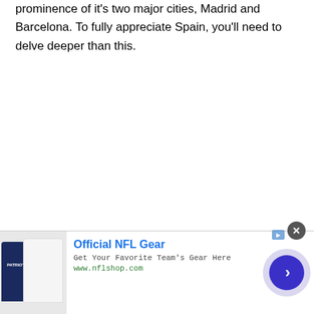prominence of it's two major cities, Madrid and Barcelona. To fully appreciate Spain, you'll need to delve deeper than this.
[Figure (other): Advertisement banner for Official NFL Gear from nflshop.com. Shows NFL team apparel (dark navy Patriots shirt and white shirt), headline 'Official NFL Gear', subtext 'Get Your Favorite Team's Gear Here', URL 'www.nflshop.com', with a blue circular call-to-action arrow button. Has a close (X) button in the top-right corner.]